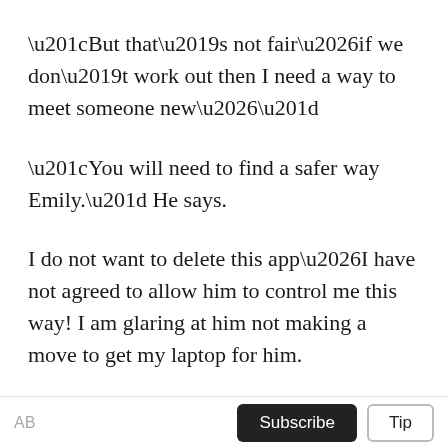“But that’s not fair…if we don’t work out then I need a way to meet someone new…”
“You will need to find a safer way Emily.” He says.
I do not want to delete this app…I have not agreed to allow him to control me this way! I am glaring at him not making a move to get my laptop for him.
“Don’t make me involve Mr. Knight Emily…”
Crap! Mr. Knight has been a father figure for me since I was 13 years old. He would certainly not like
AB  Subscribe  Tip